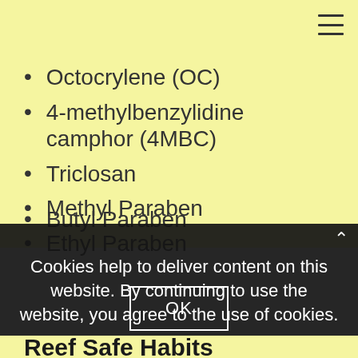Octocrylene (OC)
4-methylbenzylidine camphor (4MBC)
Triclosan
Methyl Paraben
Ethyl Paraben
Butyl Paraben
Cookies help to deliver content on this website. By continuing to use the website, you agree to the use of cookies.
Reef Safe Habits
According to the United States National